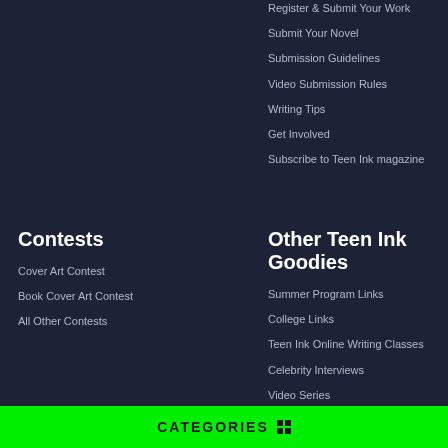Register & Submit Your Work
Submit Your Novel
Submission Guidelines
Video Submission Rules
Writing Tips
Get Involved
Subscribe to Teen Ink magazine
Contests
Other Teen Ink Goodies
Cover Art Contest
Book Cover Art Contest
All Other Contests
Summer Program Links
College Links
Teen Ink Online Writing Classes
Celebrity Interviews
Video Series
Badge Legend
CATEGORIES